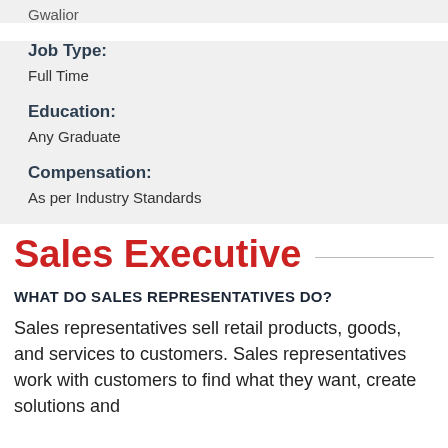Gwalior
Job Type:
Full Time
Education:
Any Graduate
Compensation:
As per Industry Standards
Sales Executive
WHAT DO SALES REPRESENTATIVES DO?
Sales representatives sell retail products, goods, and services to customers. Sales representatives work with customers to find what they want, create solutions and